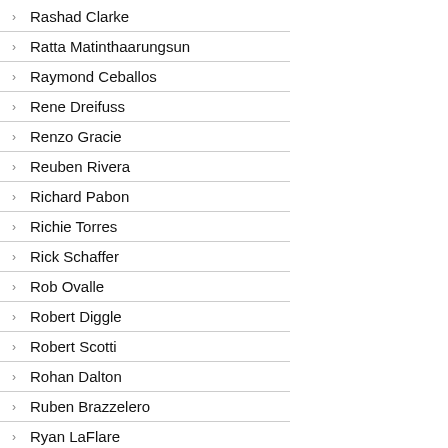Rashad Clarke
Ratta Matinthaarungsun
Raymond Ceballos
Rene Dreifuss
Renzo Gracie
Reuben Rivera
Richard Pabon
Richie Torres
Rick Schaffer
Rob Ovalle
Robert Diggle
Robert Scotti
Rohan Dalton
Ruben Brazzelero
Ryan LaFlare
Said Sarfarez
Sam Walford